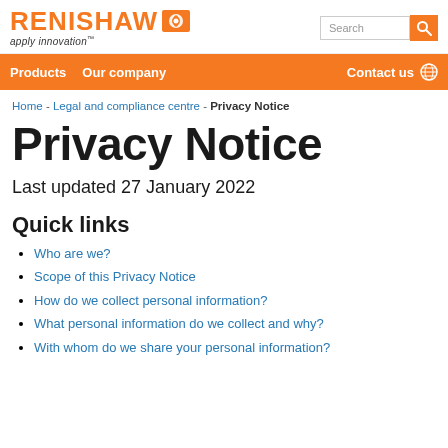RENISHAW apply innovation™
Products  Our company  Contact us
Home - Legal and compliance centre - Privacy Notice
Privacy Notice
Last updated 27 January 2022
Quick links
Who are we?
Scope of this Privacy Notice
How do we collect personal information?
What personal information do we collect and why?
With whom do we share your personal information?